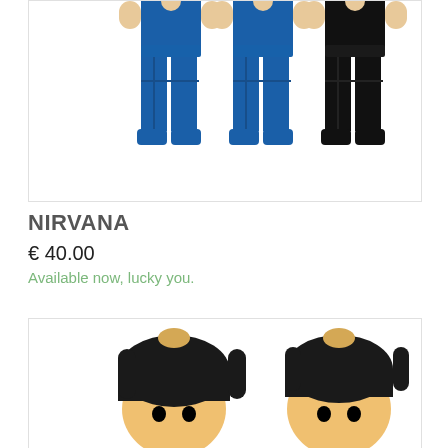[Figure (photo): LEGO minifigures (partially visible from waist down) — two figures in blue pants/shorts and one in black, with tan/flesh-colored hands visible at top. White background.]
NIRVANA
€ 40.00
Available now, lucky you.
[Figure (photo): LEGO minifigure heads with black hair pieces visible from the bottom portion of the image, on a white background.]